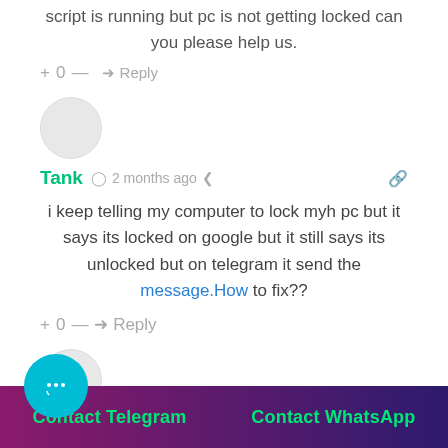script is running but pc is not getting locked can you please help us.
+ 0 — → Reply
Tank · 2 months ago
i keep telling my computer to lock myh pc but it says its locked on google but it still says its unlocked but on telegram it send the message.How to fix??
+ 0 — → Reply
[Figure (illustration): Teal chat bubble icon with three dots, representing a chat/contact widget]
Contact Telegram   Contact WhatsApp